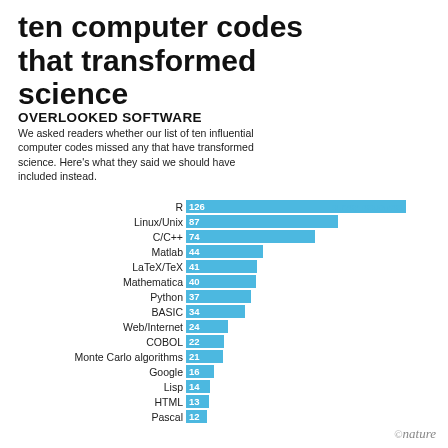ten computer codes that transformed science
OVERLOOKED SOFTWARE
We asked readers whether our list of ten influential computer codes missed any that have transformed science. Here's what they said we should have included instead.
[Figure (bar-chart): Overlooked Software]
©nature